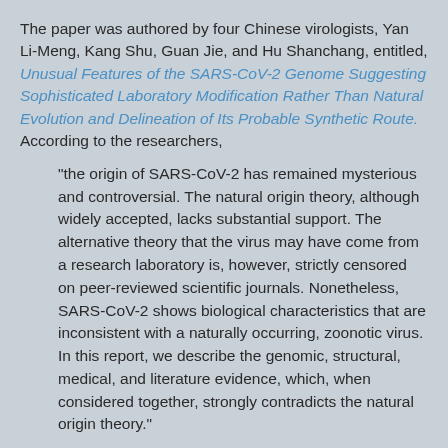The paper was authored by four Chinese virologists, Yan Li-Meng, Kang Shu, Guan Jie, and Hu Shanchang, entitled, Unusual Features of the SARS-CoV-2 Genome Suggesting Sophisticated Laboratory Modification Rather Than Natural Evolution and Delineation of Its Probable Synthetic Route. According to the researchers,
“the origin of SARS-CoV-2 has remained mysterious and controversial. The natural origin theory, although widely accepted, lacks substantial support. The alternative theory that the virus may have come from a research laboratory is, however, strictly censored on peer-reviewed scientific journals. Nonetheless, SARS-CoV-2 shows biological characteristics that are inconsistent with a naturally occurring, zoonotic virus. In this report, we describe the genomic, structural, medical, and literature evidence, which, when considered together, strongly contradicts the natural origin theory.”
Top virologists have examined the claims of Yan, et al, and